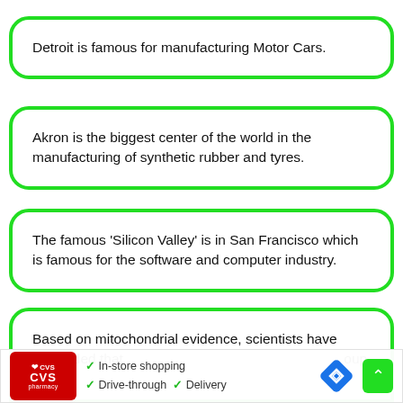Detroit is famous for manufacturing Motor Cars.
Akron is the biggest center of the world in the manufacturing of synthetic rubber and tyres.
The famous 'Silicon Valley' is in San Francisco which is famous for the software and computer industry.
Based on mitochondrial evidence, scientists have concluded that [text continues/cut off]